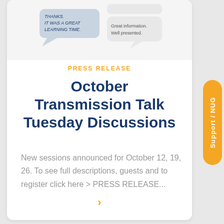[Figure (illustration): Speech bubbles illustration with text 'THANKS. IT WAS A GREAT LEARNING TIME.' and 'Great information. Well presented.']
PRESS RELEASE
October Transmission Talk Tuesday Discussions
New sessions announced for October 12, 19, 26. To see full descriptions, guests and to register click here > PRESS RELEASE...